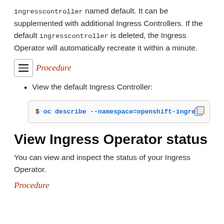ingresscontroller named default. It can be supplemented with additional Ingress Controllers. If the default ingresscontroller is deleted, the Ingress Operator will automatically recreate it within a minute.
Procedure
View the default Ingress Controller:
$ oc describe --namespace=openshift-ingress-
View Ingress Operator status
You can view and inspect the status of your Ingress Operator.
Procedure